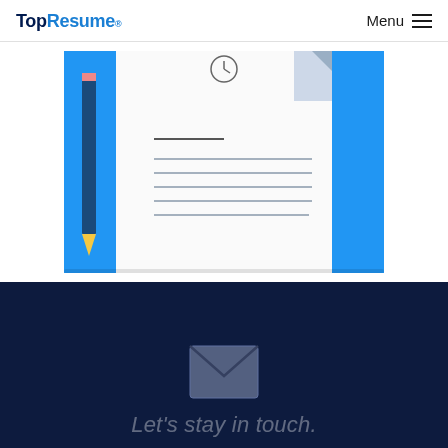TopResume® Menu
[Figure (illustration): Illustration of a resume document with a pencil on the left side and a folded document icon on the upper right, on a blue background. The resume shows lines of text represented as horizontal bars.]
[Figure (illustration): Envelope/mail icon in dark navy section]
Let's stay in touch.